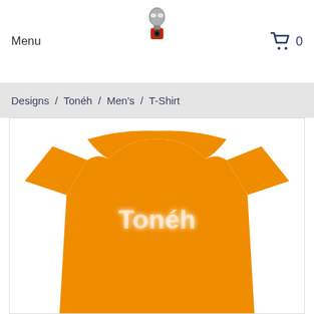Menu
Designs / Tonéh / Men's / T-Shirt
[Figure (photo): Orange t-shirt with 'Tonéh' text printed in white with a blurred/soft effect on the chest area]